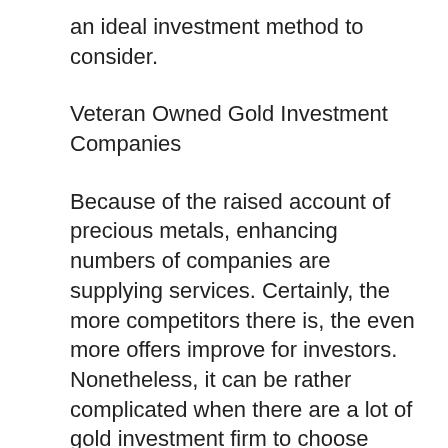an ideal investment method to consider.
Veteran Owned Gold Investment Companies
Because of the raised account of precious metals, enhancing numbers of companies are supplying services. Certainly, the more competitors there is, the even more offers improve for investors. Nonetheless, it can be rather complicated when there are a lot of gold investment firm to choose from. This is especially real for brand-new investors. To streamline points, here’s a shortlist of the leading gold individual retirement account investment firms currently offered. During the adhering to testimonial, we’ll cover which services and products to try to find, to make a decision which firm to invest with